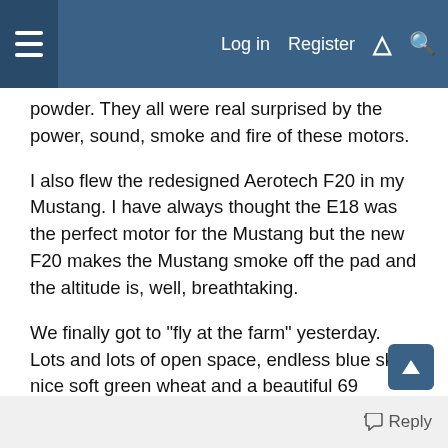Log in  Register
powder. They all were real surprised by the power, sound, smoke and fire of these motors.
I also flew the redesigned Aerotech F20 in my Mustang. I have always thought the E18 was the perfect motor for the Mustang but the new F20 makes the Mustang smoke off the pad and the altitude is, well, breathtaking.
We finally got to "fly at the farm" yesterday. Lots and lots of open space, endless blue sky, nice soft green wheat and a beautiful 69 degree no wind day. Flew all these several times each: mini-Armageddon, Mustang, mini-"nuthin special", ACME Spitfire, Deuces Wild and Blue Ninja. Never walked more than 50 yards to retreive any. What a day!!
Reply